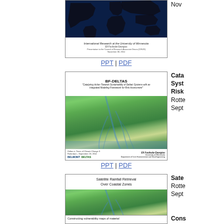[Figure (screenshot): Slide thumbnail: International Research at the University of Minnesota, presented by Efi Foufoula-Georgiou, with world map background]
Nov
PPT | PDF
[Figure (screenshot): Slide thumbnail: BF-DELTAS - Catalyzing Action Towards Sustainability of Deltaic Systems with an Integrated Modeling Framework for Risk Assessment, by Efi Foufoula-Georgiou, Rotterdam, September 2014]
Cata Syst Risk Rotte Sept
PPT | PDF
[Figure (screenshot): Slide thumbnail: Satellite Rainfall Retrieval Over Coastal Zones, by Efi Foufoula-Georgiou, Rotterdam, September 2014]
Sate Rotte Sept
PPT | PDF
[Figure (screenshot): Slide thumbnail: Constructing vulnerability maps of material...]